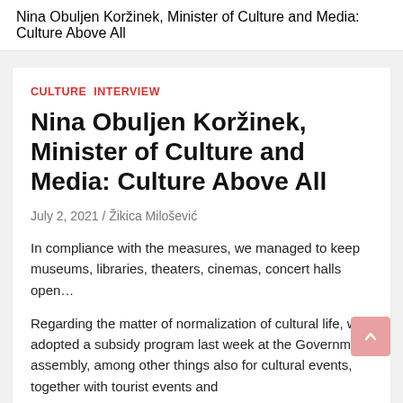Nina Obuljen Koržinek, Minister of Culture and Media: Culture Above All
CULTURE  INTERVIEW
Nina Obuljen Koržinek, Minister of Culture and Media: Culture Above All
July 2, 2021 / Žikica Milošević
In compliance with the measures, we managed to keep museums, libraries, theaters, cinemas, concert halls open…
Regarding the matter of normalization of cultural life, we adopted a subsidy program last week at the Government assembly, among other things also for cultural events, together with tourist events and